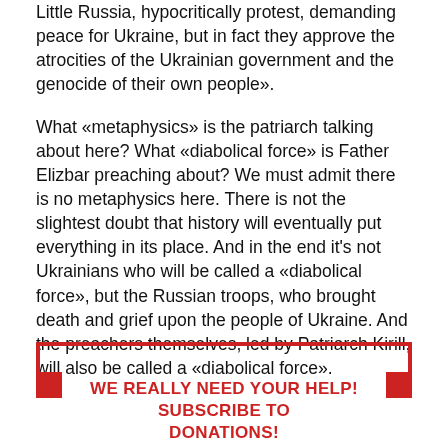Little Russia, hypocritically protest, demanding peace for Ukraine, but in fact they approve the atrocities of the Ukrainian government and the genocide of their own people».
What «metaphysics» is the patriarch talking about here? What «diabolical force» is Father Elizbar preaching about? We must admit there is no metaphysics here. There is not the slightest doubt that history will eventually put everything in its place. And in the end it's not Ukrainians who will be called a «diabolical force», but the Russian troops, who brought death and grief upon the people of Ukraine. And the preachers themselves, led by Patriarch Kirill, will also be called a «diabolical force».
WE REALLY NEED YOUR HELP! SUBSCRIBE TO DONATIONS!